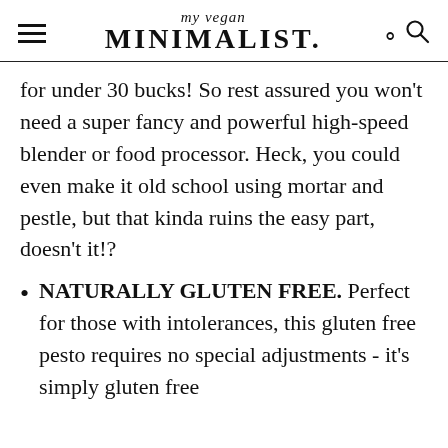my vegan MINIMALIST.
for under 30 bucks! So rest assured you won't need a super fancy and powerful high-speed blender or food processor. Heck, you could even make it old school using mortar and pestle, but that kinda ruins the easy part, doesn't it!?
NATURALLY GLUTEN FREE. Perfect for those with intolerances, this gluten free pesto requires no special adjustments - it's simply gluten free